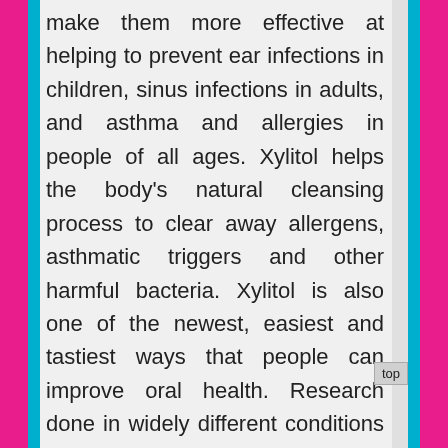make them more effective at helping to prevent ear infections in children, sinus infections in adults, and asthma and allergies in people of all ages. Xylitol helps the body's natural cleansing process to clear away allergens, asthmatic triggers and other harmful bacteria. Xylitol is also one of the newest, easiest and tastiest ways that people can improve oral health. Research done in widely different conditions confirms